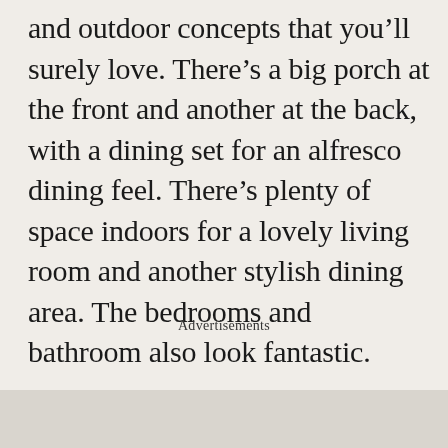and outdoor concepts that you'll surely love. There's a big porch at the front and another at the back, with a dining set for an alfresco dining feel. There's plenty of space indoors for a lovely living room and another stylish dining area. The bedrooms and bathroom also look fantastic.
Advertisements